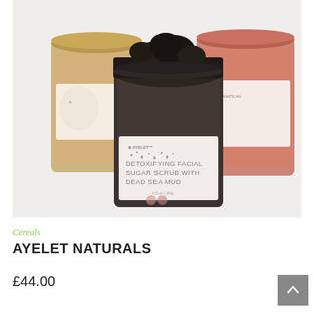[Figure (photo): Three glass jars of Ayelet Naturals skincare products on a white/light grey background. The center jar is open showing dark black/green sugar scrub contents, labeled 'DETOXIFYING FACIAL SUGAR SCRUB WITH DEAD SEA MUD'. Left jar has a beige/tan color with decorative label. Right jar is pink/salmon colored with partial text visible including 'POMEGRANATE' and 'IC TEA'.]
Cereals
AYELET NATURALS
£44.00